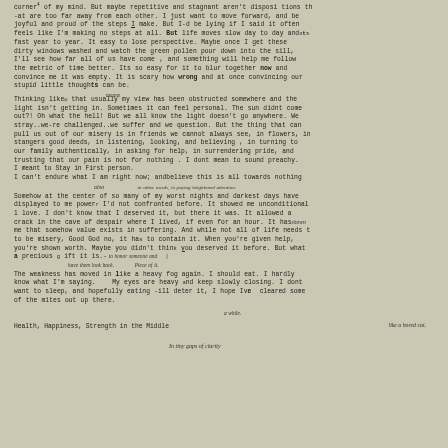corner of my mind. But maybe repetitive and stagnant aren't dispositions that are too far away from each other. I just want to move forward, and be joyful and proud of the steps I make. But I-d be lying if I said it often feels like I'm making no steps at all. But life moves slow day to day and fast year to year. It easy to lose perspective. Maybe once I get these dirty windows washed and watch the green pollen pour down into the sill, I'll see how far all of us have come, and something will help me follow the metric of time better. Its so easy for it to blur together now and convince me it was empty. It is scary how wrong and at once convincing our stupid little thoughts can be.
Thinking like that usually means my view has been obstructed somewhere and the light isn't getting in. Sometimes it can feel personal. The sun didnt come out?! Oh what the hell! But we all know the light doesn't go anywhere. We stray..we-re challenged..we suffer and we question. But the thing that can pull us out of our misery is in friends we cannot always see, in flowers, in stangers good deeds, in listening, looking, and believing, in turning to our family authentically, in asking for help, in surrendering pride, and trusting that our pain is not for nothing. I dont mean to sound preachy. I meant to stay in first person.
I can't endure what I am right now; and believe this is all towards nothing also in other words, in paying heightened attention.
Somehow at the center of so many of my worst nights and darkest days have displayed to me powerp I'd not confronted before. It showed me unconditional love. I don't know that I deserved it, but there it was. It allowed a crack in the cave of despair where I lived, if even for an hour. It has shown me that somehow value exists in suffering. And while not all of life needs it to be misery, Good God no, it has to contain it. When you're given help, you're shown worth. Maybe you didn't think you deserved it before. But what a precious gift it is- to honor someone and have them look back. Piece of it.
The weakness has moved in like a heavy fog again. I should eat. I hardly know what I'm saying. My eyes are heavy and keep slowly closing. I dont want to sleep, and hopefully eating will deter it, I hope Ive cleared some of the mites out up there. a while.
Health, Happiness, Strength in the Middle
like a bored cat.
in tiny gaps of clarity